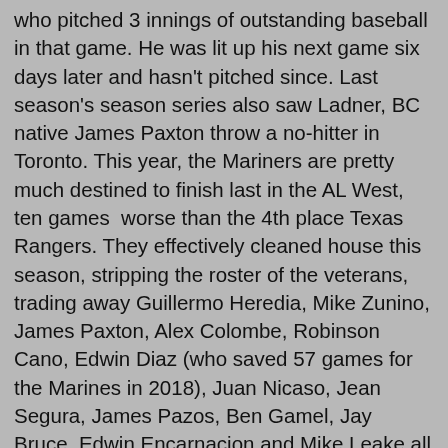who pitched 3 innings of outstanding baseball in that game. He was lit up his next game six days later and hasn't pitched since. Last season's season series also saw Ladner, BC native James Paxton throw a no-hitter in Toronto. This year, the Mariners are pretty much destined to finish last in the AL West, ten games  worse than the 4th place Texas Rangers. They effectively cleaned house this season, stripping the roster of the veterans, trading away Guillermo Heredia, Mike Zunino, James Paxton, Alex Colombe, Robinson Cano, Edwin Diaz (who saved 57 games for the Marines in 2018), Juan Nicaso, Jean Segura, James Pazos, Ben Gamel, Jay Bruce, Edwin Encarnacion and Mike Leake all since the baseball season ended last year. All these moves left the Mariners with a roster filled with prospects, who may have been promoted prematurely simply to fill roster spots. The results speak for themselves. The Mariners have struggled to win 50 games, one game less than the Blue Jays. Dee Gordon, Mallex Smith, Kyle Seagar and injured vets Felix Hernandez (he's been hampered with a wonky shoulder the whole season) and Mitch Hanigar (ruptured his testicles a couple of months ago; he played his first rehab game yesterday and could be back by the rematch in Seattle next week) are the only names you'll probably recognize unless